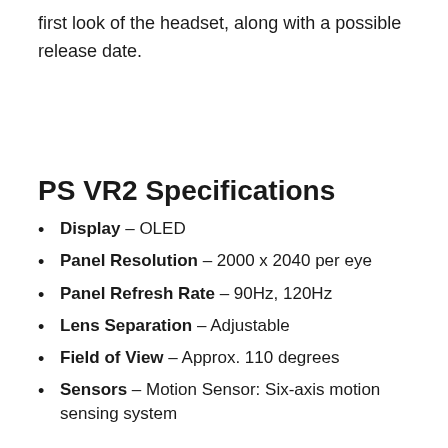first look of the headset, along with a possible release date.
PS VR2 Specifications
Display – OLED
Panel Resolution – 2000 x 2040 per eye
Panel Refresh Rate – 90Hz, 120Hz
Lens Separation – Adjustable
Field of View – Approx. 110 degrees
Sensors – Motion Sensor: Six-axis motion sensing system